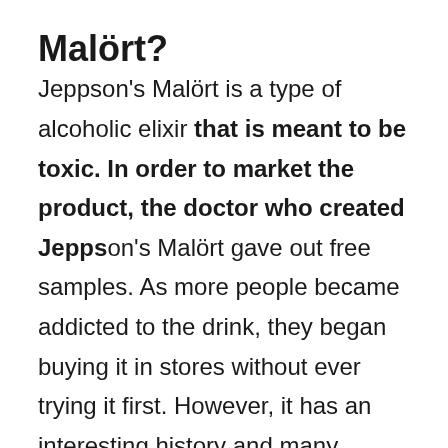Malört?
Jeppson's Malört is a type of alcoholic elixir that is meant to be toxic. In order to market the product, the doctor who created Jeppson's Malört gave out free samples. As more people became addicted to the drink, they began buying it in stores without ever trying it first. However, it has an interesting history and many health benefits. It can also be mixed with root beer, ginger ale, or